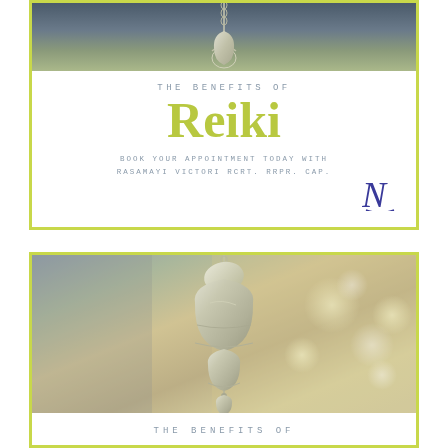[Figure (photo): Top portion of hanging wind chime bell with chain against blurred dark background]
THE BENEFITS OF
Reiki
BOOK YOUR APPOINTMENT TODAY WITH RASAMAYI VICTORI RCRT. RRPR. CAP.
[Figure (logo): Stylized N logo in dark blue/indigo]
[Figure (photo): Hanging decorative bell wind chime with leaf-shaped top piece against blurred warm background with bokeh light circles]
THE BENEFITS OF